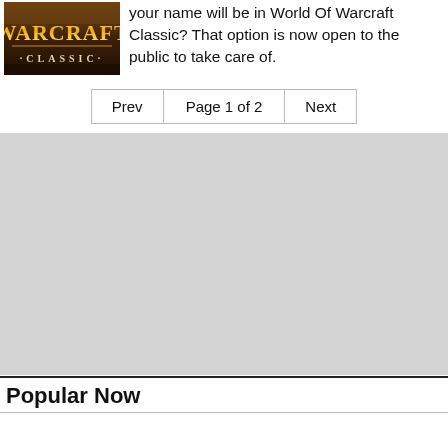[Figure (screenshot): World of Warcraft Classic logo image — dark brown background with stylized yellow/gold 'WARCRAFT' title text and '·CLASSIC·' subtitle in small caps below]
your name will be in World Of Warcraft Classic? That option is now open to the public to take care of.
Prev   Page 1 of 2   Next
[Figure (other): Gray advertisement placeholder box]
Popular Now